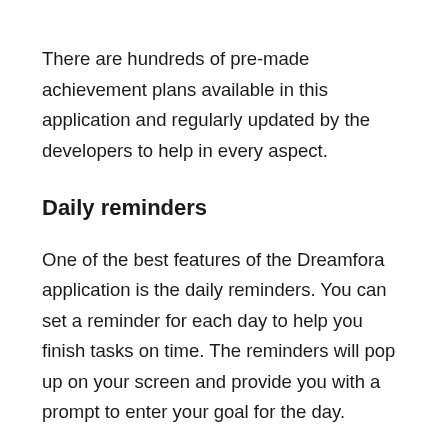There are hundreds of pre-made achievement plans available in this application and regularly updated by the developers to help in every aspect.
Daily reminders
One of the best features of the Dreamfora application is the daily reminders. You can set a reminder for each day to help you finish tasks on time. The reminders will pop up on your screen and provide you with a prompt to enter your goal for the day.